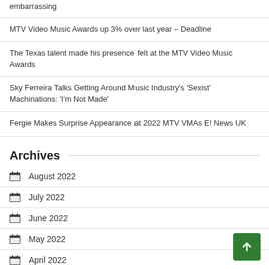embarrassing
MTV Video Music Awards up 3% over last year – Deadline
The Texas talent made his presence felt at the MTV Video Music Awards
Sky Ferreira Talks Getting Around Music Industry's 'Sexist' Machinations: 'I'm Not Made'
Fergie Makes Surprise Appearance at 2022 MTV VMAs E! News UK
Archives
August 2022
July 2022
June 2022
May 2022
April 2022